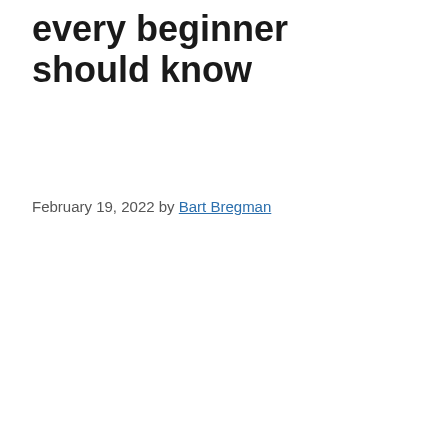every beginner should know
February 19, 2022 by Bart Bregman